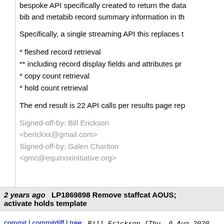bespoke API specifically created to return the data... bib and metabib record summary information in th...
Specifically, a single streaming API this replaces th...
* fleshed record retrieval
** including record display fields and attributes pro...
* copy count retrieval
* hold count retrieval
The end result is 22 API calls per results page rep...
Signed-off-by: Bill Erickson <berickxx@gmail.com>
Signed-off-by: Galen Charlton <gmc@equinoxinitiative.org>
2 years ago   LP1869898 Remove staffcat AOUS; activate holds template
commit | commitdiff | tree   Bill Erickson [Thu, 6 Aug 2020 17:58:14 +0000 (13:58 -0400)]
LP1869898 Remove staffcat AOUS; activate holds...
Remove the org unit setting for enabling access to... catalog, since it is now the default catalog.
Activate the stock holds-for-
bib print template, which is used by the
staff catalog holds-for-record grid